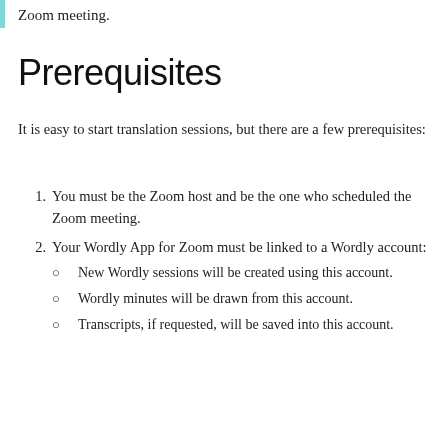Zoom meeting.
Prerequisites
It is easy to start translation sessions, but there are a few prerequisites:
1. You must be the Zoom host and be the one who scheduled the Zoom meeting.
2. Your Wordly App for Zoom must be linked to a Wordly account:
New Wordly sessions will be created using this account.
Wordly minutes will be drawn from this account.
Transcripts, if requested, will be saved into this account.